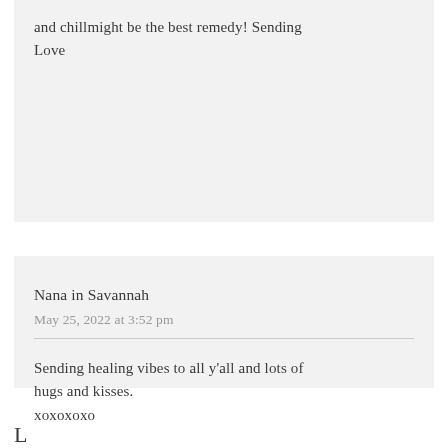and chillmight be the best remedy! Sending Love
Nana in Savannah
May 25, 2022 at 3:52 pm
Sending healing vibes to all y'all and lots of hugs and kisses.
xoxoxoxo
L